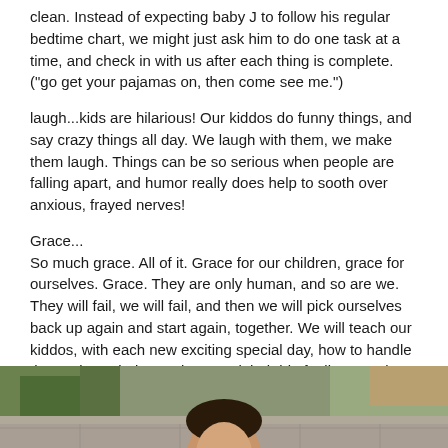clean. Instead of expecting baby J to follow his regular bedtime chart, we might just ask him to do one task at a time, and check in with us after each thing is complete. ("go get your pajamas on, then come see me.")
laugh...kids are hilarious! Our kiddos do funny things, and say crazy things all day. We laugh with them, we make them laugh. Things can be so serious when people are falling apart, and humor really does help to sooth over anxious, frayed nerves!
Grace...
So much grace. All of it. Grace for our children, grace for ourselves. Grace. They are only human, and so are we. They will fail, we will fail, and then we will pick ourselves back up again and start again, together. We will teach our kiddos, with each new exciting special day, how to handle themselves, their emotions, and their big feelings, and each holiday, and each year will hopefully get better and better, but until then...Grace.
[Figure (photo): Photo of a person partially visible at the bottom of the page, showing top of head and face, with outdoor background including green plants and stone/brick surface.]